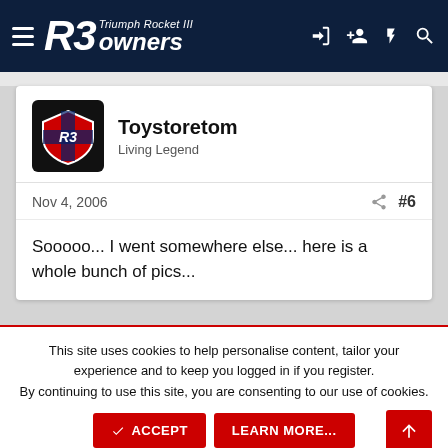R3 Owners – Triumph Rocket III Owners
Toystoretom
Living Legend
Nov 4, 2006  #6
Sooooo... I went somewhere else... here is a whole bunch of pics...
This site uses cookies to help personalise content, tailor your experience and to keep you logged in if you register.
By continuing to use this site, you are consenting to our use of cookies.